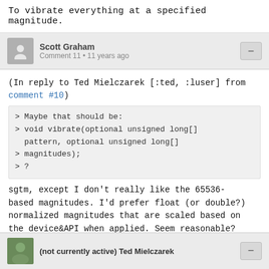To vibrate everything at a specified magnitude.
Scott Graham
Comment 11 • 11 years ago
(In reply to Ted Mielczarek [:ted, :luser] from comment #10)
> Maybe that should be:
> void vibrate(optional unsigned long[] pattern, optional unsigned long[]
> magnitudes);
> ?
sgtm, except I don't really like the 65536-based magnitudes. I'd prefer float (or double?) normalized magnitudes that are scaled based on the device&API when applied. Seem reasonable?
(not currently active) Ted Mielczarek